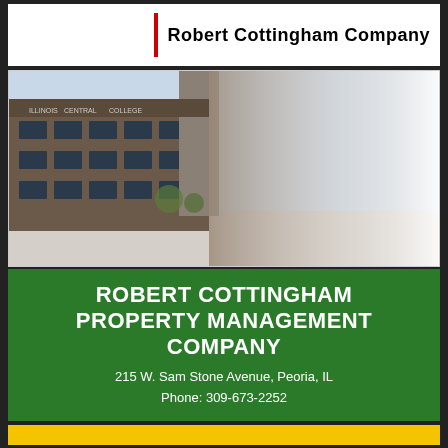Robert Cottingham Company
[Figure (photo): Exterior photo of a multi-story brick college building with signage reading 'ILLINOIS CENTRAL COLLEGE', fading to white on the right side]
ROBERT COTTINGHAM PROPERTY MANAGEMENT COMPANY
215 W. Sam Stone Avenue, Peoria, IL
Phone: 309-673-2252